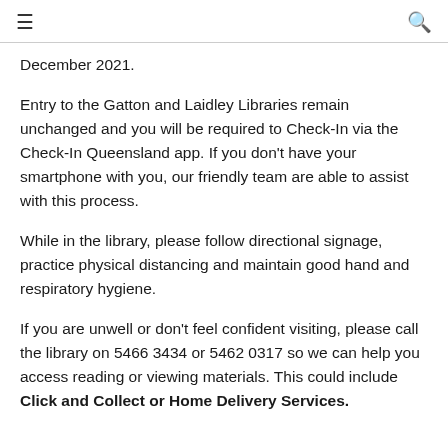≡  🔍
December 2021.
Entry to the Gatton and Laidley Libraries remain unchanged and you will be required to Check-In via the Check-In Queensland app. If you don't have your smartphone with you, our friendly team are able to assist with this process.
While in the library, please follow directional signage, practice physical distancing and maintain good hand and respiratory hygiene.
If you are unwell or don't feel confident visiting, please call the library on 5466 3434 or 5462 0317 so we can help you access reading or viewing materials. This could include Click and Collect or Home Delivery Services.